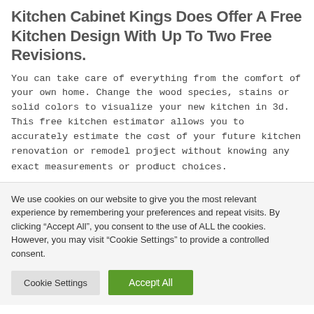Kitchen Cabinet Kings Does Offer A Free Kitchen Design With Up To Two Free Revisions.
You can take care of everything from the comfort of your own home. Change the wood species, stains or solid colors to visualize your new kitchen in 3d. This free kitchen estimator allows you to accurately estimate the cost of your future kitchen renovation or remodel project without knowing any exact measurements or product choices.
We use cookies on our website to give you the most relevant experience by remembering your preferences and repeat visits. By clicking “Accept All”, you consent to the use of ALL the cookies. However, you may visit “Cookie Settings” to provide a controlled consent.
Cookie Settings | Accept All